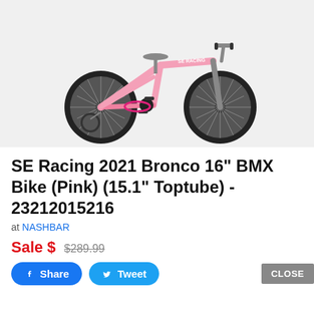[Figure (photo): Pink SE Racing BMX bike with training wheels and black tires on a light gray background]
SE Racing 2021 Bronco 16" BMX Bike (Pink) (15.1" Toptube) - 23212015216
at NASHBAR
Sale $  $289.99
Share  Tweet  CLOSE